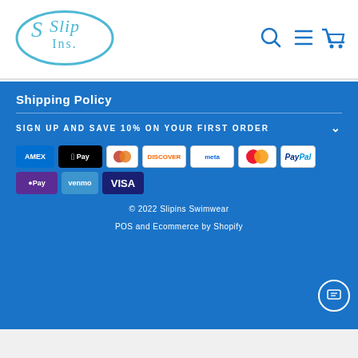[Figure (logo): Slipins swimwear logo — oval teal border with cursive 'SlipIns.' text inside]
[Figure (illustration): Navigation icons: search magnifier, hamburger menu, shopping cart — all in teal/blue]
Shipping Policy
SIGN UP AND SAVE 10% ON YOUR FIRST ORDER
[Figure (other): Payment method badges: American Express, Apple Pay, Diners Club, Discover, Meta Pay, Mastercard, PayPal, OPay, Venmo, Visa]
© 2022 Slipins Swimwear
POS and Ecommerce by Shopify